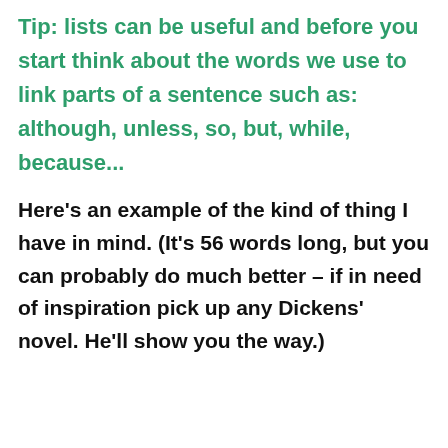Tip: lists can be useful and before you start think about the words we use to link parts of a sentence such as: although, unless, so, but, while, because...
Here's an example of the kind of thing I have in mind. (It's 56 words long, but you can probably do much better – if in need of inspiration pick up any Dickens' novel. He'll show you the way.)